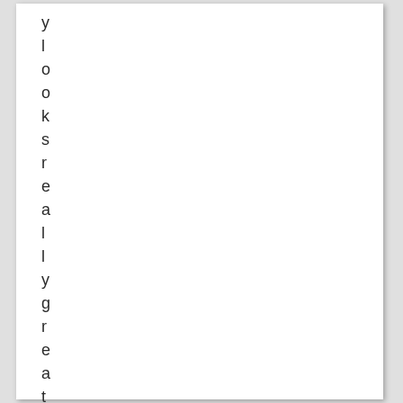y l o o k s r e a l l y g r e a t w i t h t h a t